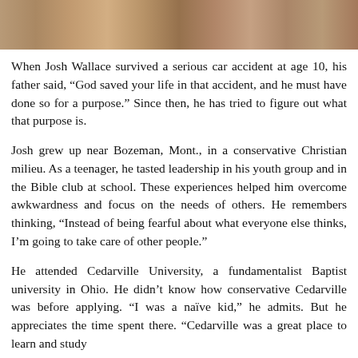[Figure (photo): A strip photograph showing hands, appearing to be a cropped image of people, with warm brownish tones.]
When Josh Wallace survived a serious car accident at age 10, his father said, “God saved your life in that accident, and he must have done so for a purpose.” Since then, he has tried to figure out what that purpose is.
Josh grew up near Bozeman, Mont., in a conservative Christian milieu. As a teenager, he tasted leadership in his youth group and in the Bible club at school. These experiences helped him overcome awkwardness and focus on the needs of others. He remembers thinking, “Instead of being fearful about what everyone else thinks, I’m going to take care of other people.”
He attended Cedarville University, a fundamentalist Baptist university in Ohio. He didn’t know how conservative Cedarville was before applying. “I was a naïve kid,” he admits. But he appreciates the time spent there. “Cedarville was a great place to learn and study